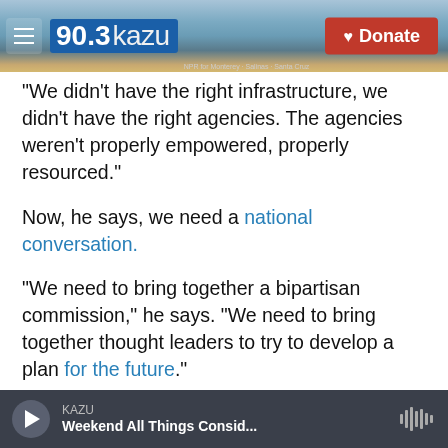[Figure (screenshot): KAZU 90.3 radio station website header with logo and Donate button over a coastal landscape photo]
“We didn’t have the right infrastructure, we didn’t have the right agencies. The agencies weren’t properly empowered, properly resourced.”
Now, he says, we need a national conversation.
“We need to bring together a bipartisan commission,” he says. “We need to bring together thought leaders to try to develop a plan for the future.”
Today, On Point: Public health, national security and a conversation with Scott Gottlieb
KAZU — Weekend All Things Consid...